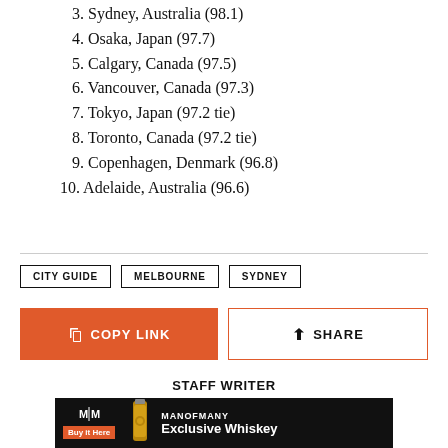3. Sydney, Australia (98.1)
4. Osaka, Japan (97.7)
5. Calgary, Canada (97.5)
6. Vancouver, Canada (97.3)
7. Tokyo, Japan (97.2 tie)
8. Toronto, Canada (97.2 tie)
9. Copenhagen, Denmark (96.8)
10. Adelaide, Australia (96.6)
CITY GUIDE | MELBOURNE | SYDNEY
COPY LINK | SHARE
STAFF WRITER
[Figure (other): Man of Many Exclusive Whiskey advertisement banner with dark background, logo, buy button, bottle image and product name text]